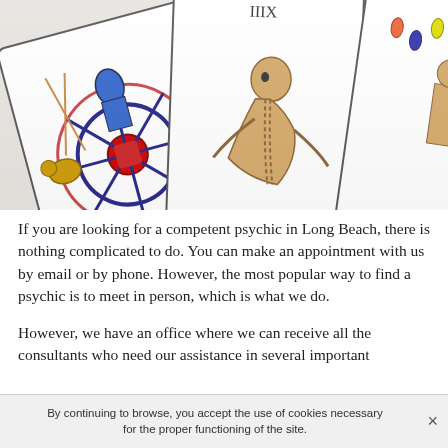[Figure (photo): Close-up photograph of tarot cards laid out, showing the Wheel of Fortune card on the left with colorful illustrated figures, and a card depicting a skeletal or gaunt hunched figure in the center, with part of a third card visible on the right showing drops of color and a figure.]
If you are looking for a competent psychic in Long Beach, there is nothing complicated to do. You can make an appointment with us by email or by phone. However, the most popular way to find a psychic is to meet in person, which is what we do.
However, we have an office where we can receive all the consultants who need our assistance in several important
By continuing to browse, you accept the use of cookies necessary for the proper functioning of the site.